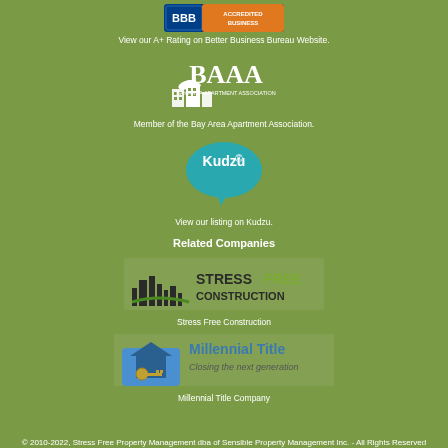[Figure (logo): BBB Better Business Bureau logo with blue and orange colors]
View our A+ Rating on Better Business Bureau Website.
[Figure (logo): BAAA Bay Area Apartment Association logo with building icon]
Member of the Bay Area Apartment Association.
[Figure (logo): Kudzu speech bubble logo in teal/blue]
View our listing on Kudzu.
Related Companies
[Figure (logo): Stress Free Construction logo with city skyline]
Stress Free Construction
[Figure (logo): Millennial Title logo - Closing the next generation]
Millennial Title Company
© 2010-2022, Stress Free Property Management dba of Sensible Property Management Inc. - All Rights Reserved